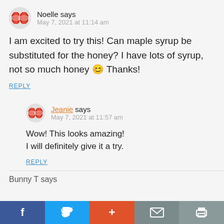[Figure (illustration): Globe emoji avatar icon for Noelle]
Noelle says
May 7, 2021 at 11:14 am
I am excited to try this! Can maple syrup be substituted for the honey? I have lots of syrup, not so much honey 😊 Thanks!
REPLY
[Figure (illustration): Globe emoji avatar icon for Jeanie]
Jeanie says
May 7, 2021 at 11:57 am
Wow! This looks amazing!
I will definitely give it a try.
REPLY
Bunny T says
[Figure (infographic): Bottom social sharing bar with Facebook, Twitter, Plus, Mail, and Print buttons]